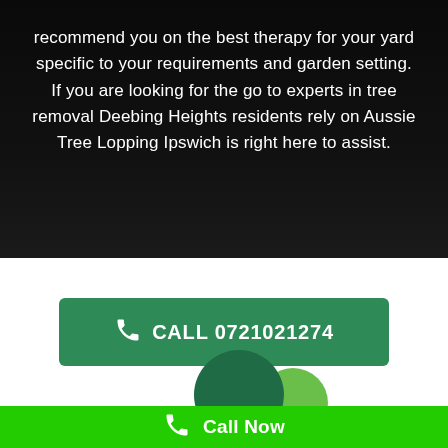recommend you on the best therapy for your yard specific to your requirements and garden setting. If you are looking for the go to experts in tree removal Deebing Heights residents rely on Aussie Tree Lopping Ipswich is right here to assist.
CALL 0721021274
[Figure (logo): Two overlapping circles forming a logo: a large dark green circle overlapping with a smaller light green circle]
Call Now